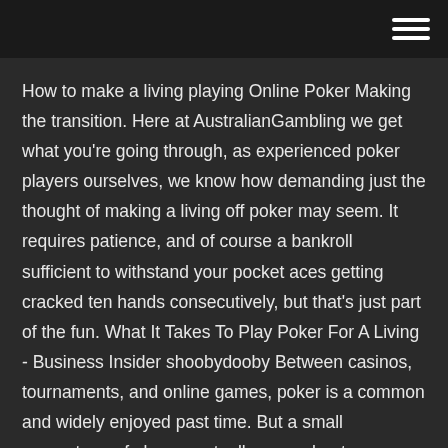How to make a living playing Online Poker Making the transition. Here at AustralianGambling we get what you're going through, as experienced poker players ourselves, we know how demanding just the thought of making a living off poker may seem. It requires patience, and of course a bankroll sufficient to withstand your pocket aces getting cracked ten hands consecutively, but that's just part of the fun. What It Takes To Play Poker For A Living - Business Insider shoobydooby Between casinos, tournaments, and online games, poker is a common and widely enjoyed past time. But a small percentage of players actually use poker to earn a living. How to Make $1000 a Month Playing Online Poker ... The best way to make $1000 a month playing